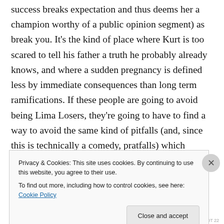success breaks expectation and thus deems her a champion worthy of a public opinion segment) as break you. It's the kind of place where Kurt is too scared to tell his father a truth he probably already knows, and where a sudden pregnancy is defined less by immediate consequences than long term ramifications. If these people are going to avoid being Lima Losers, they're going to have to find a way to avoid the same kind of pitfalls (and, since this is technically a comedy, pratfalls) which await them.
And while part of Glee's DNA implies a certain degree of
Privacy & Cookies: This site uses cookies. By continuing to use this website, you agree to their use.
To find out more, including how to control cookies, see here: Cookie Policy
BLINDSPOT 22